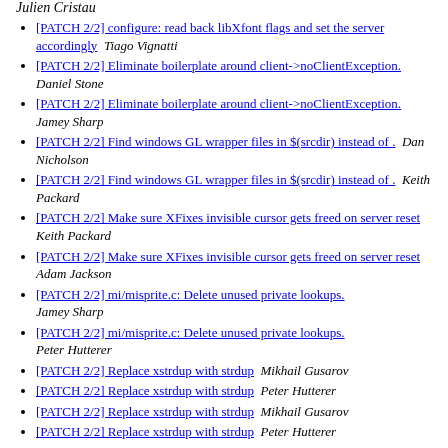[PATCH 2/2] configure: read back libXfont flags and set the server accordingly  Tiago Vignatti
[PATCH 2/2] Eliminate boilerplate around client->noClientException.  Daniel Stone
[PATCH 2/2] Eliminate boilerplate around client->noClientException.  Jamey Sharp
[PATCH 2/2] Find windows GL wrapper files in $(srcdir) instead of .  Dan Nicholson
[PATCH 2/2] Find windows GL wrapper files in $(srcdir) instead of .  Keith Packard
[PATCH 2/2] Make sure XFixes invisible cursor gets freed on server reset  Keith Packard
[PATCH 2/2] Make sure XFixes invisible cursor gets freed on server reset  Adam Jackson
[PATCH 2/2] mi/misprite.c: Delete unused private lookups.  Jamey Sharp
[PATCH 2/2] mi/misprite.c: Delete unused private lookups.  Peter Hutterer
[PATCH 2/2] Replace xstrdup with strdup  Mikhail Gusarov
[PATCH 2/2] Replace xstrdup with strdup  Peter Hutterer
[PATCH 2/2] Replace xstrdup with strdup  Mikhail Gusarov
[PATCH 2/2] Replace xstrdup with strdup  Peter Hutterer
[PATCH 2/2] scrnintstr.h: removed unused PaintWindow function pointers  Oliver McFadden